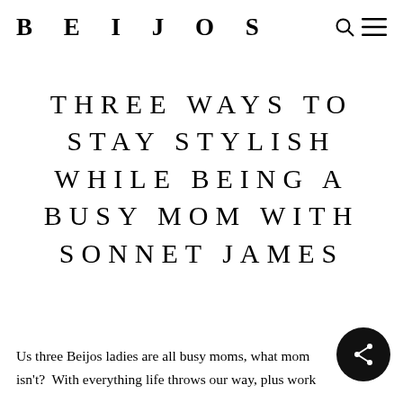BEIJOS
THREE WAYS TO STAY STYLISH WHILE BEING A BUSY MOM WITH SONNET JAMES
Us three Beijos ladies are all busy moms, what mom isn't?  With everything life throws our way, plus work